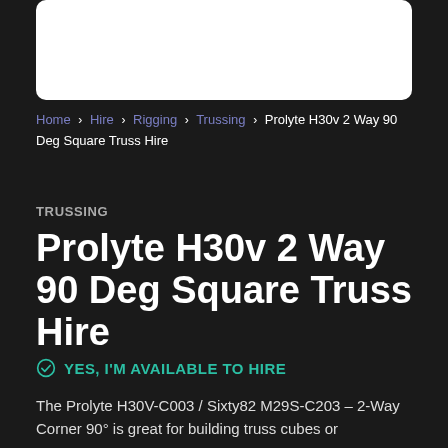[Figure (photo): White image/product photo box at top of page]
Home > Hire > Rigging > Trussing > Prolyte H30v 2 Way 90 Deg Square Truss Hire
TRUSSING
Prolyte H30v 2 Way 90 Deg Square Truss Hire
YES, I'M AVAILABLE TO HIRE
The Prolyte H30V-C003 / Sixty82 M29S-C203 – 2-Way Corner 90° is great for building truss cubes or